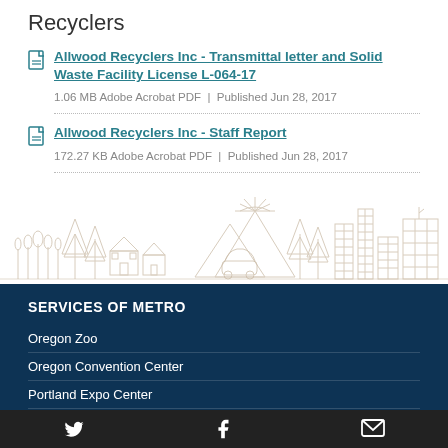Recyclers
Allwood Recyclers Inc - Transmittal letter and Solid Waste Facility License L-064-17
1.06 MB Adobe Acrobat PDF | Published Jun 28, 2017
Allwood Recyclers Inc - Staff Report
172.27 KB Adobe Acrobat PDF | Published Jun 28, 2017
[Figure (illustration): Outline illustration of Portland cityscape with mountains, trees, buildings, and a car]
SERVICES OF METRO
Oregon Zoo
Oregon Convention Center
Portland Expo Center
Twitter | Facebook | Email social links